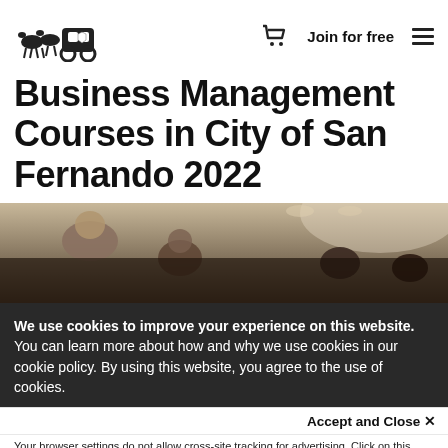Join for free
Business Management Courses in City of San Fernando 2022
[Figure (photo): Group of people in a classroom or conference setting, dark background, viewed from above.]
We use cookies to improve your experience on this website. You can learn more about how and why we use cookies in our cookie policy. By using this website, you agree to the use of cookies.
Accept and Close ✕
Your browser settings do not allow cross-site tracking for advertising. Click on this page to allow AdRoll to use cross-site tracking to tailor ads to you. Learn more or opt out of this AdRoll tracking by clicking here. This message only appears once.